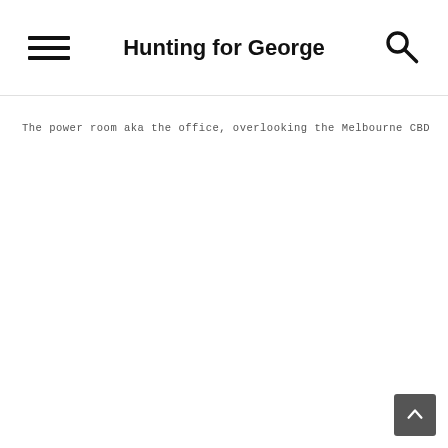Hunting for George
The power room aka the office, overlooking the Melbourne CBD